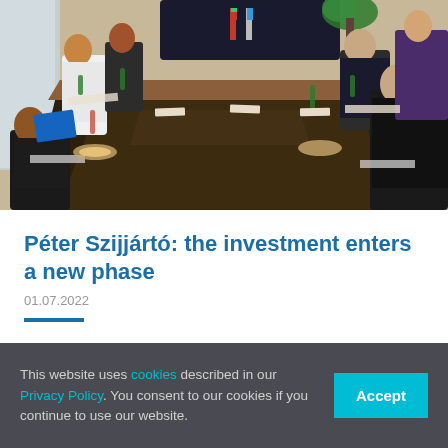[Figure (photo): Diplomatic meeting scene: officials seated on both sides of a long conference table with flags, bottles of water and drinks, papers on the table, in a modern office boardroom setting.]
Péter Szijjártó: the investment enters a new phase
01.07.2022
This website uses cookies described in our Privacy Policy. You consent to our cookies if you continue to use our website.